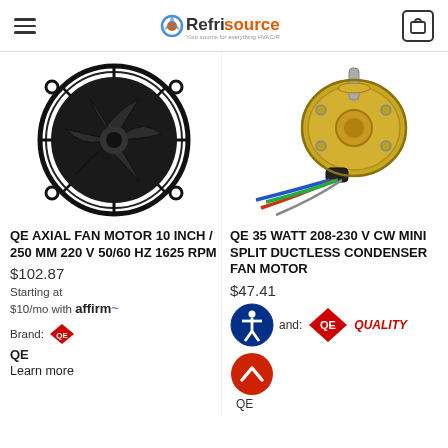Refrisource — Your source for everything HVAC/R
[Figure (photo): QE Axial fan motor with protective guard, 10 inch / 250 mm, black]
QE AXIAL FAN MOTOR 10 INCH / 250 MM 220 V 50/60 HZ 1625 RPM
$102.87
Starting at $10/mo with affirm. Learn more
Brand: QE
[Figure (photo): QE 35 watt mini split ductless condenser fan motor with colored wires]
QE 35 WATT 208-230 V CW MINI SPLIT DUCTLESS CONDENSER FAN MOTOR
$47.41
Brand: QE